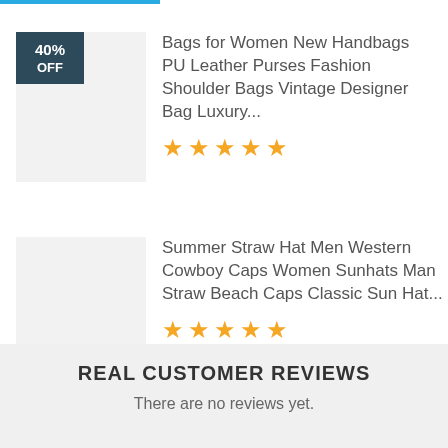[Figure (other): Product thumbnail placeholder with 40% OFF badge, first product item]
Bags for Women New Handbags PU Leather Purses Fashion Shoulder Bags Vintage Designer Bag Luxury...
[Figure (other): Five gold star rating for first product]
[Figure (other): Product thumbnail placeholder, second product item]
Summer Straw Hat Men Western Cowboy Caps Women Sunhats Man Straw Beach Caps Classic Sun Hat...
[Figure (other): Five gold star rating for second product]
REAL CUSTOMER REVIEWS
There are no reviews yet.